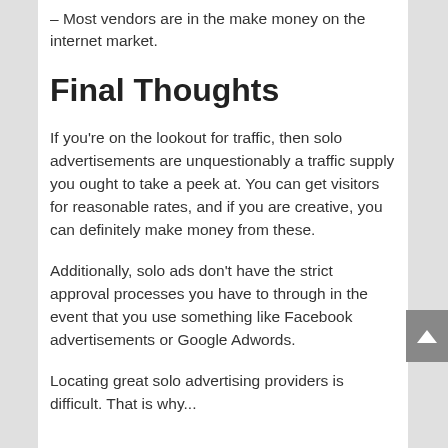– Most vendors are in the make money on the internet market.
Final Thoughts
If you're on the lookout for traffic, then solo advertisements are unquestionably a traffic supply you ought to take a peek at. You can get visitors for reasonable rates, and if you are creative, you can definitely make money from these.
Additionally, solo ads don't have the strict approval processes you have to through in the event that you use something like Facebook advertisements or Google Adwords.
Locating great solo advertising providers is difficult. That is why...